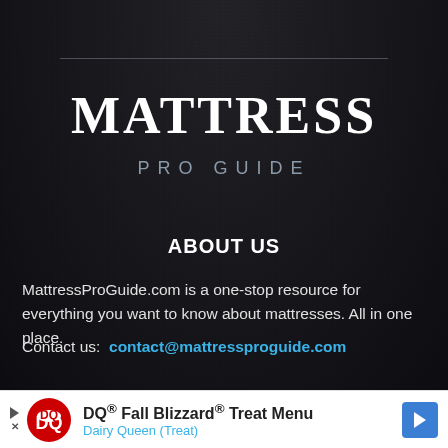[Figure (other): Dark background with city/industrial scene and decorative horizontal divider line]
MATTRESS PRO GUIDE
ABOUT US
MattressProGuide.com is a one-stop resource for everything you want to know about mattresses. All in one place.
Contact us: contact@mattressproguide.com
[Figure (other): Dairy Queen advertisement banner: DQ Fall Blizzard Treat Menu, Dairy Queen (Treat)]